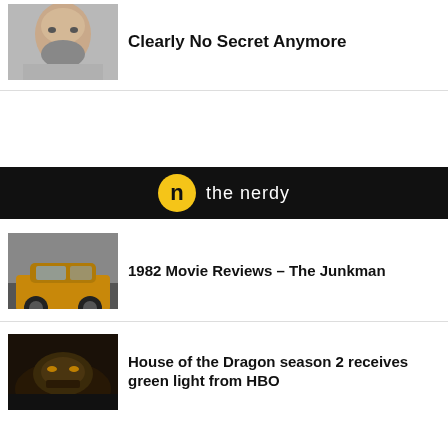[Figure (photo): Partial photo of a man with beard, cropped at top]
Clearly No Secret Anymore
[Figure (logo): The Nerdy website banner with circular logo on black background]
[Figure (photo): Photo of a yellow/orange car from 1982 movie The Junkman]
1982 Movie Reviews – The Junkman
[Figure (photo): Dark image from House of the Dragon season 2]
House of the Dragon season 2 receives green light from HBO